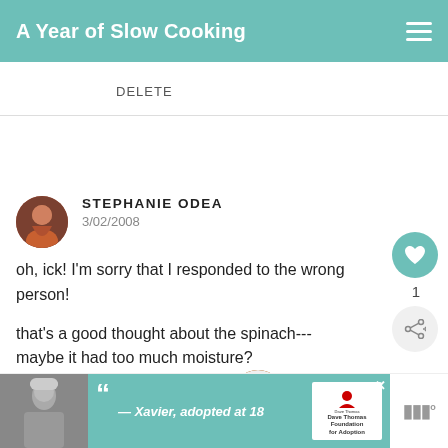A Year of Slow Cooking
DELETE
STEPHANIE ODEA
3/02/2008

oh, ick! I'm sorry that I responded to the wrong person!

that's a good thought about the spinach--- maybe it had too much moisture?

have a wonderful night!
steph
WHAT'S NEXT → Slow Cooker Marmalade...
[Figure (screenshot): Advertisement banner: photo of person in winter hat, teal background with quote '— Xavier, adopted at 18', Dave Thomas Foundation for Adoption logo, close button]